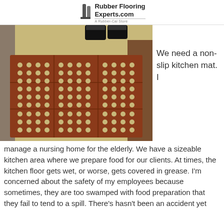RubberFlooringExperts.com — A Rubber-Cal Store
[Figure (photo): A red/brown rubber anti-fatigue mat with circular holes arranged in a grid pattern, laid on a tan kitchen floor. A person's feet in black shoes are visible at the top of the mat. A brown cabinet or door is visible to the right.]
We need a non-slip kitchen mat. I manage a nursing home for the elderly. We have a sizeable kitchen area where we prepare food for our clients. At times, the kitchen floor gets wet, or worse, gets covered in grease. I'm concerned about the safety of my employees because sometimes, they are too swamped with food preparation that they fail to tend to a spill. There's hasn't been an accident yet